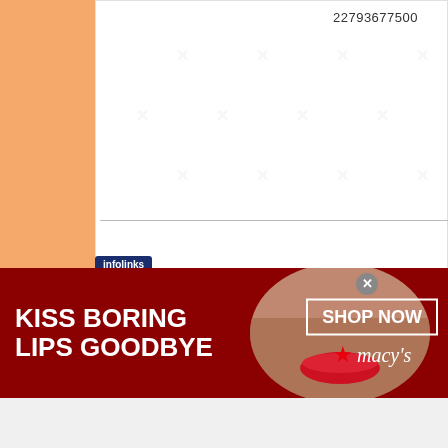22793677500
[Figure (photo): AquaClear filter insert product box in blue packaging]
[Figure (infographic): Infolinks branded advertisement banner: 'KISS BORING LIPS GOODBYE' with woman's face and red lips, SHOP NOW button, Macy's logo with red star]